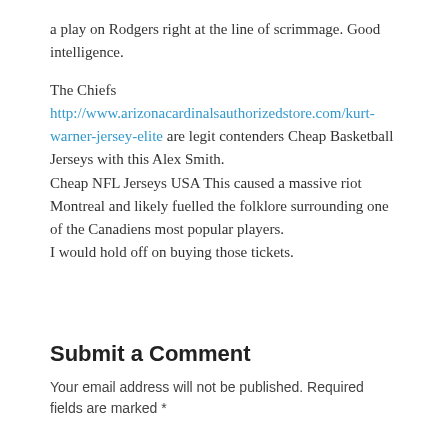a play on Rodgers right at the line of scrimmage. Good intelligence.
The Chiefs http://www.arizonacardinalsauthorizedstore.com/kurt-warner-jersey-elite are legit contenders Cheap Basketball Jerseys with this Alex Smith.
Cheap NFL Jerseys USA This caused a massive riot Montreal and likely fuelled the folklore surrounding one of the Canadiens most popular players.
I would hold off on buying those tickets.
Submit a Comment
Your email address will not be published. Required fields are marked *